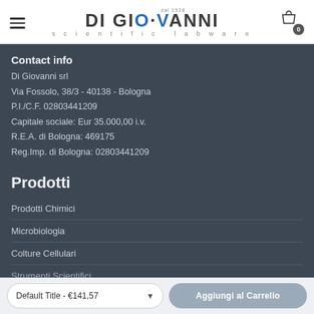[Figure (logo): Di Giovanni scientific labware logo with hamburger menu icon and shopping cart with badge showing 0]
Contact info
Di Giovanni srl
Via Fossolo, 38/3 - 40138 - Bologna
P.I./C.F. 02803441209
Capitale sociale: Eur 35.000,00 i.v.
R.E.A. di Bologna: 469175
Reg.Imp. di Bologna: 02803441209
Prodotti
Prodotti Chimici
Microbiologia
Colture Cellulari
Strumenti Scientifici
Default Title - €141,57
Aggiungi al Carrello